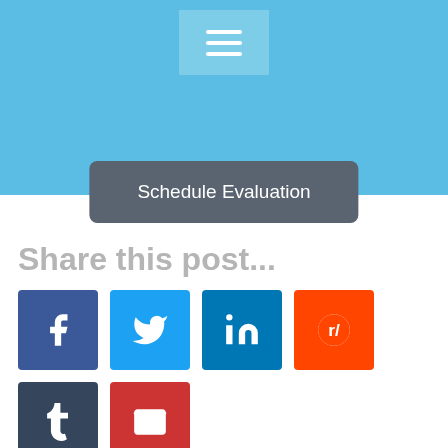[Figure (screenshot): Blue header bar with hamburger menu icon button and a dark grey 'Schedule Evaluation' dropdown button]
Share this post...
[Figure (infographic): Row of social share icon buttons: Facebook (dark blue), Twitter (light blue), LinkedIn (teal blue), Reddit (orange), Tumblr (dark navy), Email (red), and a centered grey Print button below]
Meet The Author
[Figure (infographic): Author card with grey avatar circle icon and name 'SEP Guest']